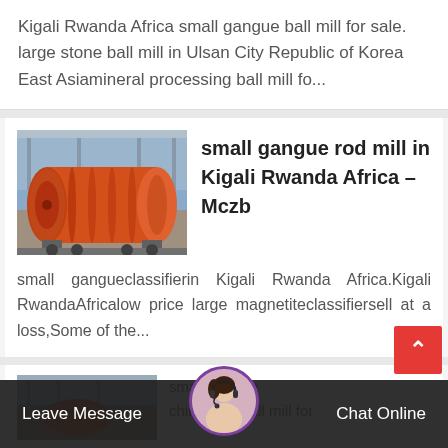Kigali Rwanda Africa small gangue ball mill for sale. large stone ball mill in Ulsan City Republic of Korea East Asiamineral processing ball mill fo...
[Figure (photo): Photo of an orange industrial ball mill / rod mill machine in a factory setting]
small gangue rod mill in Kigali Rwanda Africa - Mczb
small gangueclassifierin Kigali Rwanda Africa.Kigali RwandaAfricalow price large magnetiteclassifiersell at a loss,Some of the...
[Figure (photo): Partial photo of industrial machinery at the bottom of the page]
small gangue chinaware ball mill for